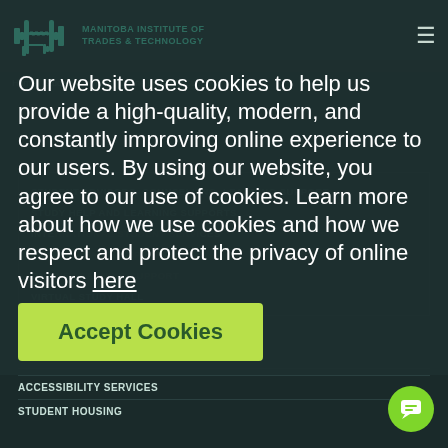MANITOBA INSTITUTE OF TRADES & TECHNOLOGY
Home / Student Services / Online Learning Support
Our website uses cookies to help us provide a high-quality, modern, and constantly improving online experience to our users. By using our website, you agree to our use of cookies. Learn more about how we use cookies and how we respect and protect the privacy of online visitors here
Accept Cookies
STUDENT ADVISORS, COUNSELLING, LEARNING SUPPORT
STUDY HELP AND LEARNING SUPPORTS
INTE... CES
MEN...
ONL...
VIRTUAL STUDY HALL
ACCESSIBILITY SERVICES
STUDENT HOUSING